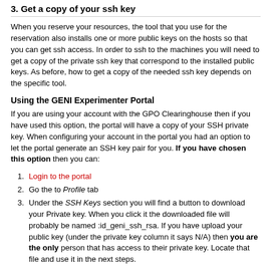3. Get a copy of your ssh key
When you reserve your resources, the tool that you use for the reservation also installs one or more public keys on the hosts so that you can get ssh access. In order to ssh to the machines you will need to get a copy of the private ssh key that correspond to the installed public keys. As before, how to get a copy of the needed ssh key depends on the specific tool.
Using the GENI Experimenter Portal
If you are using your account with the GPO Clearinghouse then if you have used this option, the portal will have a copy of your SSH private key. When configuring your account in the portal you had an option to let the portal generate an SSH key pair for you. If you have chosen this option then you can:
Login to the portal
Go the to Profile tab
Under the SSH Keys section you will find a button to download your Private key. When you click it the downloaded file will probably be named :id_geni_ssh_rsa. If you have upload your public key (under the private key column it says N/A) then you are the only person that has access to their private key. Locate that file and use it in the next steps.
Using Flack
Flack has a list of ssh keys that it uploads to nodes during the